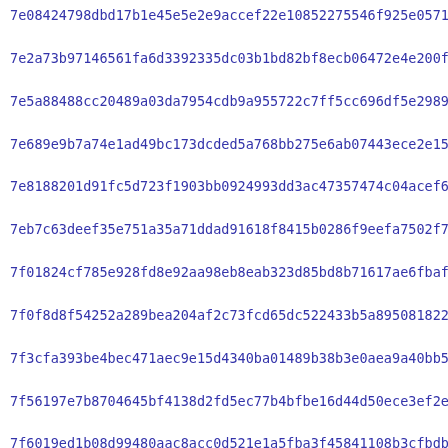7e08424798dbd17b1e45e5e2e9accef22e10852275546f925e0571b7b7050
7e2a73b97146561fa6d3392335dc03b1bd82bf8ecb06472e4e200f6068390
7e5a88488cc20489a03da7954cdb9a955722c7ff5cc696df5e2989245ed0c
7e689e9b7a74e1ad49bc173dcded5a768bb275e6ab07443ece2e15de9743b
7e8188201d91fc5d723f1903bb0924993dd3ac47357474c04acef63a0ef5d
7eb7c63deef35e751a35a71ddad91618f8415b0286f9eefa7502f757ce287
7f01824cf785e928fd8e92aa98eb8eab323d85bd8b71617ae6fbaf88ac16a
7f0f8d8f54252a289bea204af2c73fcd65dc522433b5a89508182296448c6
7f3cfa393be4bec471aec9e15d4340ba01489b38b3e0aea9a40bb574cef24
7f56197e7b8704645bf4138d2fd5ec77b4bfbe16d44d50ece3ef2e3596235
7f6019ed1b08d99480aac8acc0d521e1a5fba3f45841108b3cfbdb7fbc5d2